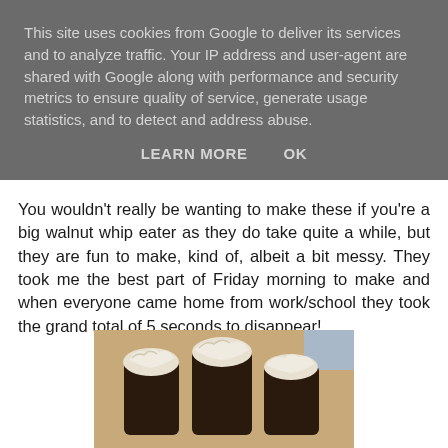This site uses cookies from Google to deliver its services and to analyze traffic. Your IP address and user-agent are shared with Google along with performance and security metrics to ensure quality of service, generate usage statistics, and to detect and address abuse.
LEARN MORE   OK
You wouldn't really be wanting to make these if you're a big walnut whip eater as they do take quite a while, but they are fun to make, kind of, albeit a bit messy. They took me the best part of Friday morning to make and when everyone came home from work/school they took the grand total of 5 seconds to disappear!
[Figure (photo): Photo of chocolate walnut whip confections with white topping, partially visible at bottom of page]